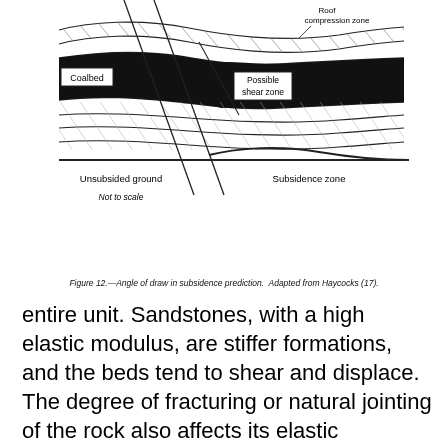[Figure (engineering-diagram): Cross-section diagram showing angle of draw in subsidence prediction. Labels include Roof compression zone, Coalbed, Possible shear zone, Unsubsided ground, Subsidence zone, Not to scale. Adapted from Haycocks (17).]
Figure 12.—Angle of draw in subsidence prediction. Adapted from Haycocks (17).
entire unit. Sandstones, with a high elastic modulus, are stiffer formations, and the beds tend to shear and displace. The degree of fracturing or natural jointing of the rock also affects its elastic modulus. Fractures lower the strength and the elastic modulus of the rock. Shales usually have more pronounced fracture systems than the more competent sandstones